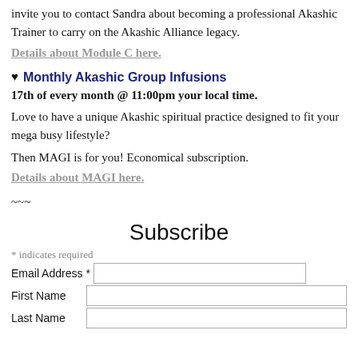invite you to contact Sandra about becoming a professional Akashic Trainer to carry on the Akashic Alliance legacy.
Details about Module C here.
♥ Monthly Akashic Group Infusions
17th of every month @ 11:00pm your local time.
Love to have a unique Akashic spiritual practice designed to fit your mega busy lifestyle?
Then MAGI is for you! Economical subscription.
Details about MAGI here.
~~~
Subscribe
* indicates required
Email Address *
First Name
Last Name